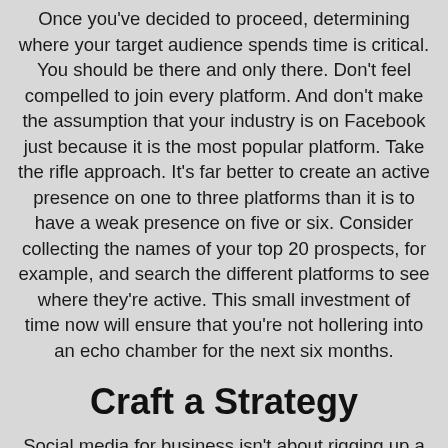Once you've decided to proceed, determining where your target audience spends time is critical. You should be there and only there. Don't feel compelled to join every platform. And don't make the assumption that your industry is on Facebook just because it is the most popular platform. Take the rifle approach. It's far better to create an active presence on one to three platforms than it is to have a weak presence on five or six. Consider collecting the names of your top 20 prospects, for example, and search the different platforms to see where they're active. This small investment of time now will ensure that you're not hollering into an echo chamber for the next six months.
Craft a Strategy
Social media for business isn't about rigging up a profile and posting haphazardly; you need a strategy with measurable results. Define your objectives, the tactics you